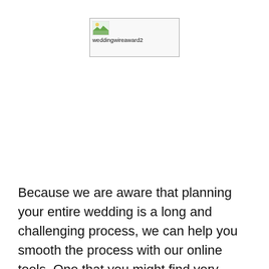[Figure (other): Broken image placeholder showing a small landscape thumbnail icon with the filename label 'weddingwireaward2' displayed below it, inside a rectangular border]
Because we are aware that planning your entire wedding is a long and challenging process, we can help you smooth the process with our online tools. One that you might find very useful is our image galleries of previous weddings that we've paired